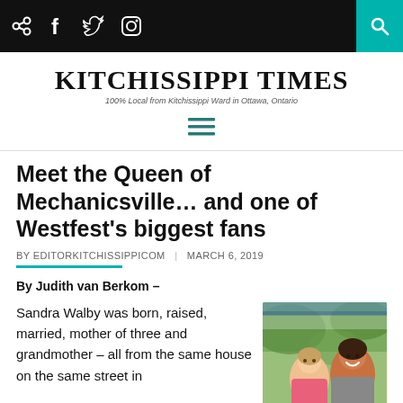Kitchissippi Times — top navigation bar with social/share icons and search
[Figure (logo): Kitchissippi Times masthead logo with tagline: 100% Local from Kitchissippi Ward in Ottawa, Ontario]
[Figure (other): Hamburger menu icon (three horizontal lines) in teal/dark color]
Meet the Queen of Mechanicsville… and one of Westfest's biggest fans
BY EDITORKITCHISSIPPICOM | MARCH 6, 2019
By Judith van Berkom –
Sandra Walby was born, raised, married, mother of three and grandmother – all from the same house on the same street in
[Figure (photo): Photo of two people smiling outdoors, appearing to be at an outdoor event]